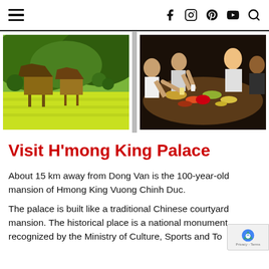Navigation bar with hamburger menu and social icons: facebook, instagram, pinterest, youtube, search
[Figure (photo): Two photos side by side: left photo shows traditional stilt houses in a green rice field with forested hills in background; right photo shows a group of people toasting drinks at a table full of food dishes.]
Visit H’mong King Palace
About 15 km away from Dong Van is the 100-year-old mansion of Hmong King Vuong Chinh Duc.
The palace is built like a traditional Chinese courtyard mansion. The historical place is a national monument recognized by the Ministry of Culture, Sports and To